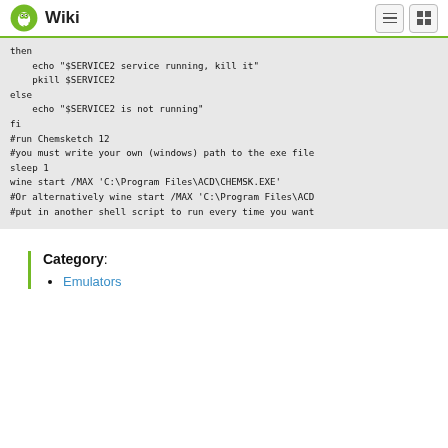Wiki
then
    echo "$SERVICE2 service running, kill it"
    pkill $SERVICE2
else
    echo "$SERVICE2 is not running"
fi
#run Chemsketch 12
#you must write your own (windows) path to the exe file
sleep 1
wine start /MAX 'C:\Program Files\ACD\CHEMSK.EXE'
#Or alternatively wine start /MAX 'C:\Program Files\ACD
#put in another shell script to run every time you want
Category: Emulators